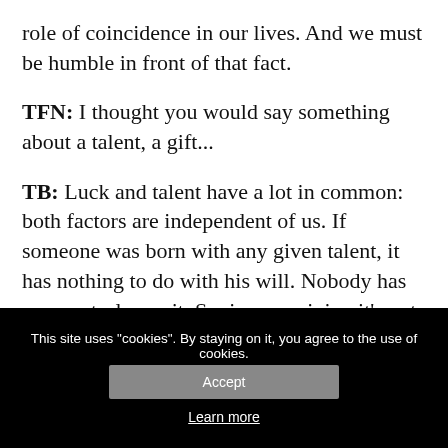role of coincidence in our lives. And we must be humble in front of that fact.
TFN: I thought you would say something about a talent, a gift...
TB: Luck and talent have a lot in common: both factors are independent of us. If someone was born with any given talent, it has nothing to do with his will. Nobody has any control over it. So, in my opinion it’s not wise to be proud of our talents. Its not an achievement to be born with
This site uses "cookies". By staying on it, you agree to the use of cookies.
Accept
Learn more